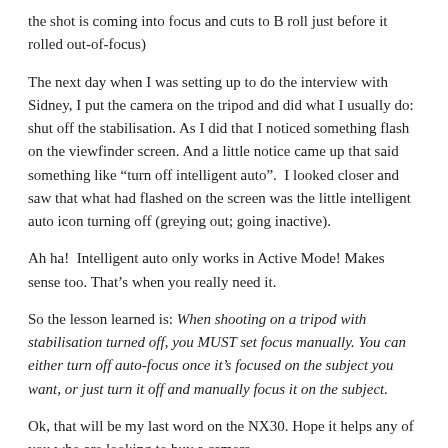the shot is coming into focus and cuts to B roll just before it rolled out-of-focus)
The next day when I was setting up to do the interview with Sidney, I put the camera on the tripod and did what I usually do: shut off the stabilisation. As I did that I noticed something flash on the viewfinder screen. And a little notice came up that said something like “turn off intelligent auto”.  I looked closer and saw that what had flashed on the screen was the little intelligent auto icon turning off (greying out; going inactive).
Ah ha!  Intelligent auto only works in Active Mode! Makes sense too. That’s when you really need it.
So the lesson learned is: When shooting on a tripod with stabilisation turned off, you MUST set focus manually. You can either turn off auto-focus once it’s focused on the subject you want, or just turn it off and manually focus it on the subject.
Ok, that will be my last word on the NX30. Hope it helps any of you who are looking to buy a camera.
And thanks to the 50,000 of you who, at this writing, watched the 2 Part